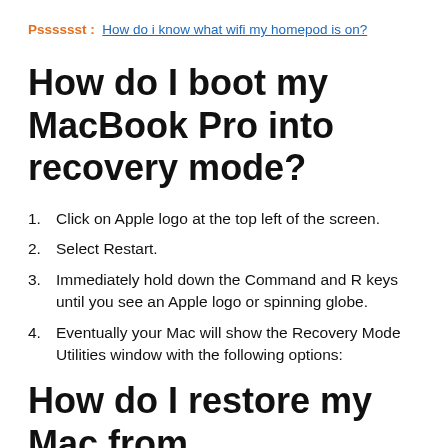Psssssst :  How do i know what wifi my homepod is on?
How do I boot my MacBook Pro into recovery mode?
Click on Apple logo at the top left of the screen.
Select Restart.
Immediately hold down the Command and R keys until you see an Apple logo or spinning globe.
Eventually your Mac will show the Recovery Mode Utilities window with the following options:
How do I restore my Mac from